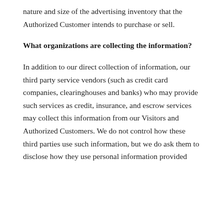nature and size of the advertising inventory that the Authorized Customer intends to purchase or sell.
What organizations are collecting the information?
In addition to our direct collection of information, our third party service vendors (such as credit card companies, clearinghouses and banks) who may provide such services as credit, insurance, and escrow services may collect this information from our Visitors and Authorized Customers. We do not control how these third parties use such information, but we do ask them to disclose how they use personal information provided